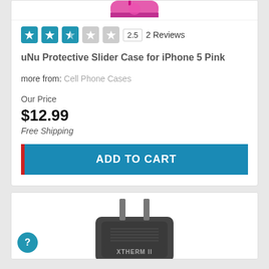[Figure (photo): Partial product image at top - pink iPhone case (cropped, top portion only visible)]
2.5  2 Reviews
uNu Protective Slider Case for iPhone 5 Pink
more from: Cell Phone Cases
Our Price
$12.99
Free Shipping
ADD TO CART
[Figure (photo): Second product listing - XTHERM II device (appears to be a thermal camera or similar device that plugs into a phone), dark colored, plugs visible at top]